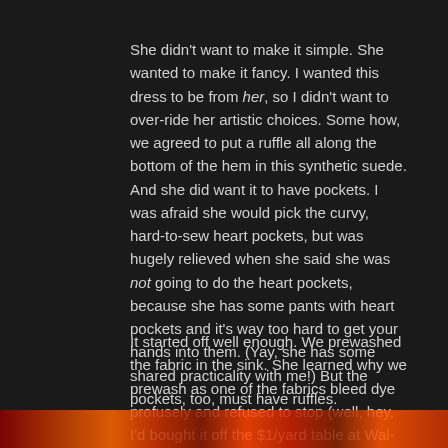She didn't want to make it simple. She wanted to make it fancy. I wanted this dress to be from her, so I didn't want to over-ride her artistic choices. Some how, we agreed to put a ruffle all along the bottom of the hem in this synthetic suede. And she did want it to have pockets. I was afraid she would pick the curvy, hard-to-sew heart pockets, but was hugely relieved when she said she was not going to do the heart pockets, because she has some pants with heart pockets and it's way too hard to get your hands into them. (Yay, she has some shared practicality with me!) But the pockets, too, must have ruffles.
It started off well enough. We prewashed the fabric in the sink. She learned why we prewash as one of the fabrics bleed dye profusely and refused to stop (well, hey, I'd bought it off the $1/yard table at Wal-Mart. You get what you pay for). In had been almost a velvet; when we ditched that was when we decided to use the suede. Guess why I had that on hand?
[Figure (photo): Bottom strip showing colorful fabric or craft materials in red, orange, and brown tones]